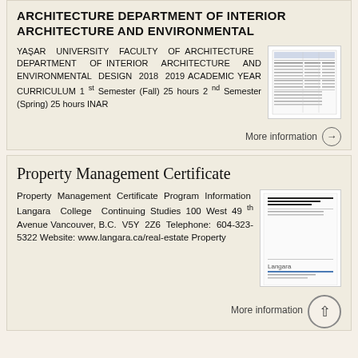ARCHITECTURE DEPARTMENT OF INTERIOR ARCHITECTURE AND ENVIRONMENTAL
YAŞAR UNIVERSITY FACULTY OF ARCHITECTURE DEPARTMENT OF INTERIOR ARCHITECTURE AND ENVIRONMENTAL DESIGN 2018 2019 ACADEMIC YEAR CURRICULUM 1 st Semester (Fall) 25 hours 2 nd Semester (Spring) 25 hours INAR
More information →
Property Management Certificate
Property Management Certificate Program Information Langara College Continuing Studies 100 West 49 th Avenue Vancouver, B.C. V5Y 2Z6 Telephone: 604-323-5322 Website: www.langara.ca/real-estate Property
More information →